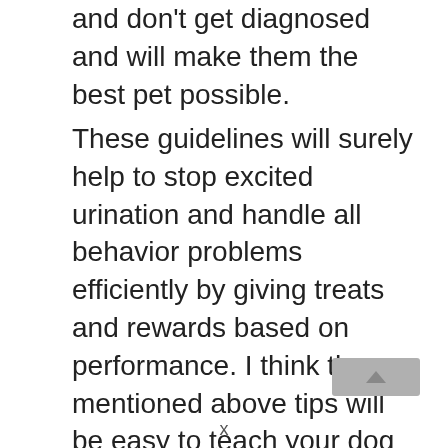and don't get diagnosed and will make them the best pet possible.
These guidelines will surely help to stop excited urination and handle all behavior problems efficiently by giving treats and rewards based on performance. I think the mentioned above tips will be easy to teach your dog perfectly. So whenever you have free time, try to teach the dog something new.